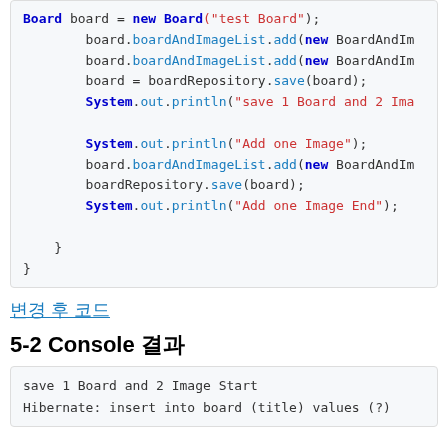[Figure (screenshot): Code block showing Java code with Board and boardAndImageList operations, System.out.println calls, and closing braces]
변경 후 코드
5-2 Console 결과
[Figure (screenshot): Console output block showing: save 1 Board and 2 Image Start, Hibernate: insert into board (title) values (?)]